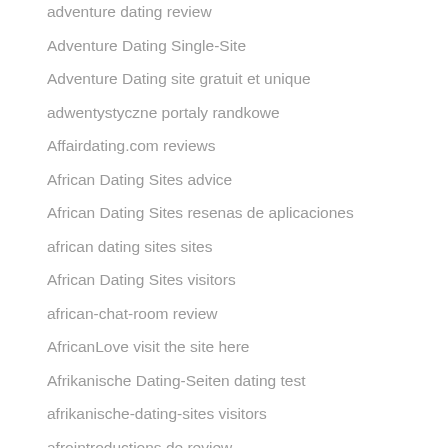adventure dating review
Adventure Dating Single-Site
Adventure Dating site gratuit et unique
adwentystyczne portaly randkowe
Affairdating.com reviews
African Dating Sites advice
African Dating Sites resenas de aplicaciones
african dating sites sites
African Dating Sites visitors
african-chat-room review
AfricanLove visit the site here
Afrikanische Dating-Seiten dating test
afrikanische-dating-sites visitors
afrointroductions de review
Afrointroductions flirt app